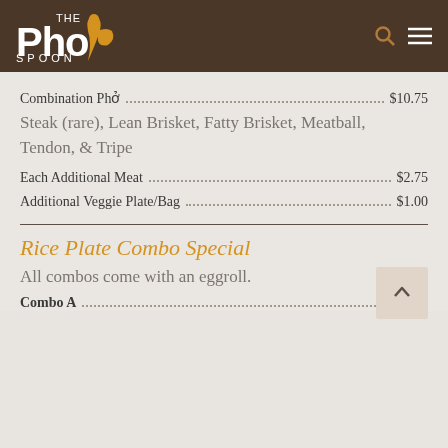[Figure (logo): The Pho Spoon restaurant logo with white text and an orange spoon graphic on dark brown background, with search and menu icons]
Combination Phở $10.75
Steak (rare), Lean Brisket, Fatty Brisket, Meatball, Tendon, & Tripe
Each Additional Meat $2.75
Additional Veggie Plate/Bag $1.00
Rice Plate Combo Special
All combos come with an eggroll.
Combo A $10.50